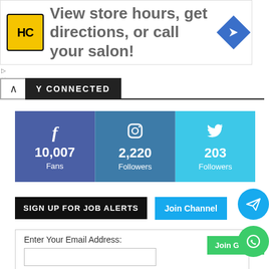[Figure (infographic): Advertisement banner with HC logo, text 'View store hours, get directions, or call your salon!' and a blue diamond direction arrow icon]
Y CONNECTED
[Figure (infographic): Three social media stat boxes: Facebook 10,007 Fans, Instagram 2,220 Followers, Twitter 203 Followers]
SIGN UP FOR JOB ALERTS
Join Channel
Enter Your Email Address:
Join Group